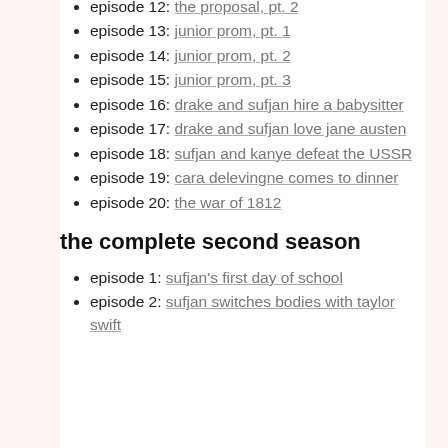episode 12: the proposal, pt. 2
episode 13: junior prom, pt. 1
episode 14: junior prom, pt. 2
episode 15: junior prom, pt. 3
episode 16: drake and sufjan hire a babysitter
episode 17: drake and sufjan love jane austen
episode 18: sufjan and kanye defeat the USSR
episode 19: cara delevingne comes to dinner
episode 20: the war of 1812
the complete second season
episode 1: sufjan's first day of school
episode 2: sufjan switches bodies with taylor swift